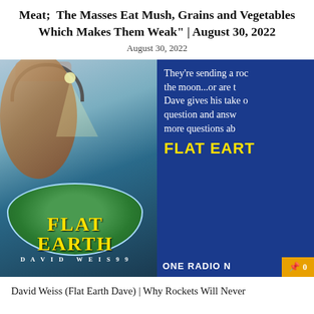Meat;  The Masses Eat Mush, Grains and Vegetables Which Makes Them Weak" | August 30, 2022
August 30, 2022
[Figure (photo): Promotional image for Flat Earth Dave (David Weiss) podcast/radio appearance. Left half shows a man with headphones and cap in front of a flat earth illustration with yellow 'FLAT EARTH / DAVID WEISS' text. Right half has a blue background with white text starting 'They're sending a roc... the moon...or are t... Dave gives his take o... question and answ... more questions ab...' and yellow 'FLAT EART' text, and at bottom 'ONE RADIO N' with an orange pin badge showing '0'.]
David Weiss (Flat Earth Dave) | Why Rockets Will Never